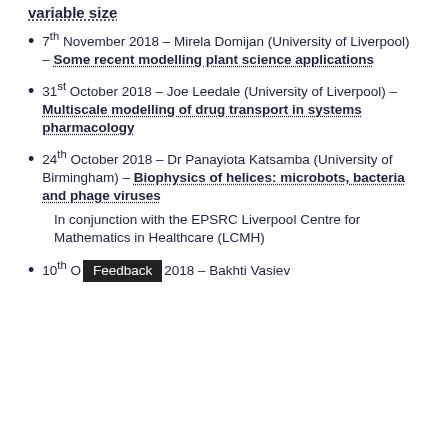variable size
7th November 2018 – Mirela Domijan (University of Liverpool) – Some recent modelling plant science applications
31st October 2018 – Joe Leedale (University of Liverpool) – Multiscale modelling of drug transport in systems pharmacology
24th October 2018 – Dr Panayiota Katsamba (University of Birmingham) – Biophysics of helices: microbots, bacteria and phage viruses
In conjunction with the EPSRC Liverpool Centre for Mathematics in Healthcare (LCMH)
10th October 2018 – Bakhti Vasiev